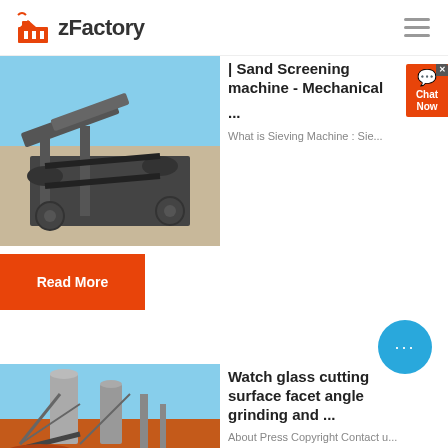zFactory
[Figure (photo): Industrial conveyor belt and screening machine at a mining or quarry site]
| Sand Screening machine - Mechanical ...
What is Sieving Machine : Sie...
Read More
[Figure (photo): Large industrial mining or processing plant with silos and conveyors]
Watch glass cutting surface facet angle grinding and ...
About Press Copyright Contact u...